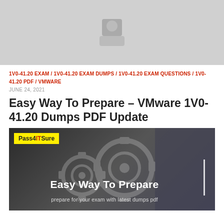[Figure (illustration): Gray placeholder image with a person/profile icon silhouette in the center top area]
1V0-41.20 EXAM / 1V0-41.20 EXAM DUMPS / 1V0-41.20 EXAM QUESTIONS / 1V0-41.20 PDF / VMWARE
JUNE 24, 2021
Easy Way To Prepare – VMware 1V0-41.20 Dumps PDF Update
[Figure (illustration): Dark banner image with gear icons, Pass4ITSure yellow badge logo, text 'Easy Way To Prepare' and subtitle 'prepare for your exam with latest dumps pdf'. A person in a suit holding a tablet is visible in background.]